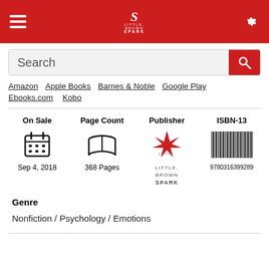[Figure (screenshot): Red header bar with hamburger menu icon on left, Little Brown Spark logo in center, gear/settings icon on right]
[Figure (screenshot): Search bar with magnifying glass button on right]
Amazon   Apple Books   Barnes & Noble   Google Play
Ebooks.com   Kobo
| On Sale | Page Count | Publisher | ISBN-13 |
| --- | --- | --- | --- |
| Sep 4, 2018 | 368 Pages | Little, Brown Spark | 9780316399289 |
Genre
Nonfiction / Psychology / Emotions